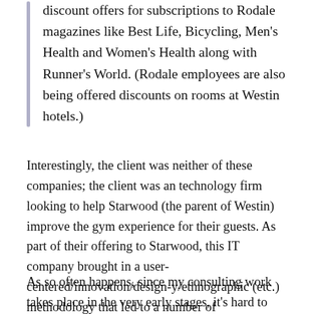discount offers for subscriptions to Rodale magazines like Best Life, Bicycling, Men's Health and Women's Health along with Runner's World. (Rodale employees are also being offered discounts on rooms at Westin hotels.)
Interestingly, the client was neither of these companies; the client was an technology firm looking to help Starwood (the parent of Westin) improve the gym experience for their guests. As part of their offering to Starwood, this IT company brought in a user-centered/innovation/design-y/ethnographic (etc.) methodology that led to a number of recomendations, not all of which would make use of the IT that the client wanted to develop/sell. The focus was on the overall experience.
As so often happens, since my consulting work takes place in the very early stages, it's hard to find out what happened with a project, and here I happened to stumble upon this story in the